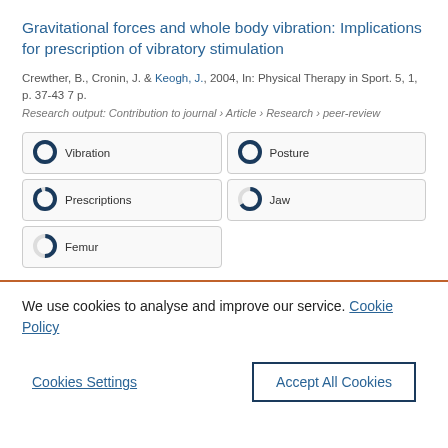Gravitational forces and whole body vibration: Implications for prescription of vibratory stimulation
Crewther, B., Cronin, J. & Keogh, J., 2004, In: Physical Therapy in Sport. 5, 1, p. 37-43 7 p.
Research output: Contribution to journal › Article › Research › peer-review
[Figure (infographic): Keyword badges with donut/ring icons showing coverage percentage: Vibration (100%), Posture (100%), Prescriptions (100%), Jaw (66%), Femur (50%)]
We use cookies to analyse and improve our service. Cookie Policy
Cookies Settings    Accept All Cookies